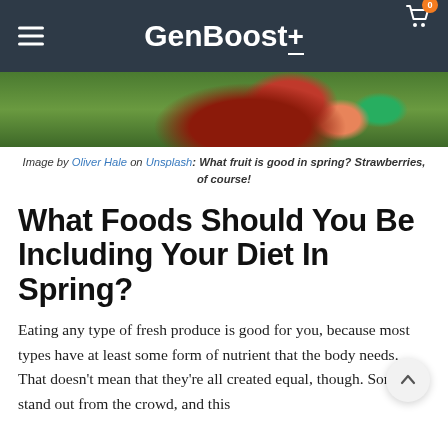GenBoost
[Figure (photo): Close-up photo of strawberries and green foliage against a natural green background]
Image by Oliver Hale on Unsplash: What fruit is good in spring? Strawberries, of course!
What Foods Should You Be Including Your Diet In Spring?
Eating any type of fresh produce is good for you, because most types have at least some form of nutrient that the body needs. That doesn't mean that they're all created equal, though. Some stand out from the crowd, and this